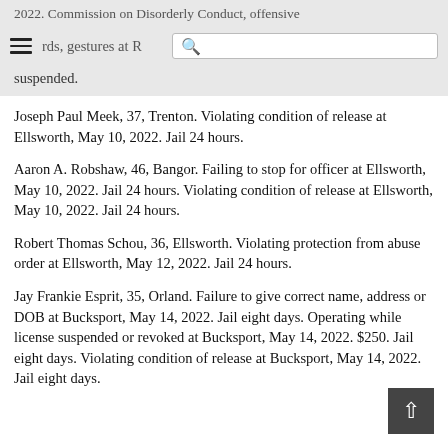2022. Commission on Disorderly Conduct, offensive words, gestures at R... suspended.
Joseph Paul Meek, 37, Trenton. Violating condition of release at Ellsworth, May 10, 2022. Jail 24 hours.
Aaron A. Robshaw, 46, Bangor. Failing to stop for officer at Ellsworth, May 10, 2022. Jail 24 hours. Violating condition of release at Ellsworth, May 10, 2022. Jail 24 hours.
Robert Thomas Schou, 36, Ellsworth. Violating protection from abuse order at Ellsworth, May 12, 2022. Jail 24 hours.
Jay Frankie Esprit, 35, Orland. Failure to give correct name, address or DOB at Bucksport, May 14, 2022. Jail eight days. Operating while license suspended or revoked at Bucksport, May 14, 2022. $250. Jail eight days. Violating condition of release at Bucksport, May 14, 2022. Jail eight days.